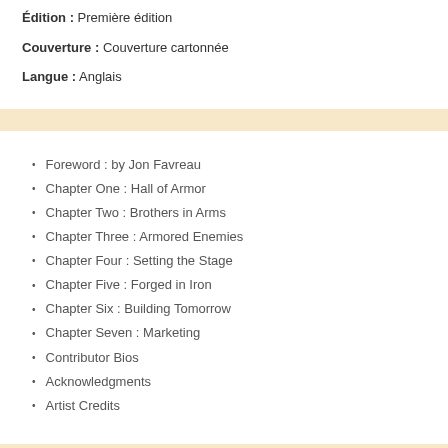Édition : Première édition
Couverture : Couverture cartonnée
Langue : Anglais
Foreword : by Jon Favreau
Chapter One : Hall of Armor
Chapter Two : Brothers in Arms
Chapter Three : Armored Enemies
Chapter Four : Setting the Stage
Chapter Five : Forged in Iron
Chapter Six : Building Tomorrow
Chapter Seven : Marketing
Contributor Bios
Acknowledgments
Artist Credits
Get a behind the scenes look at the most highly anticipated mo... comprehensive, unique, and privileged behind-the-scenes look at th... picture. Follow the film's complete artistic evolution, from initial con...